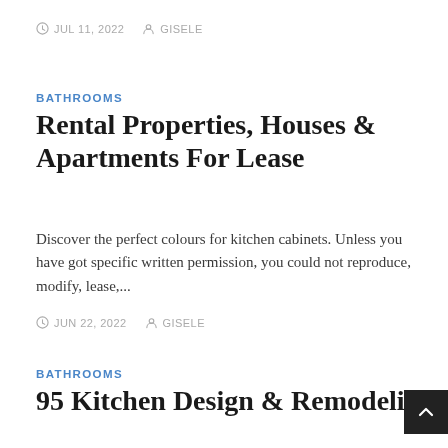JUL 11, 2022   GISELE
BATHROOMS
Rental Properties, Houses & Apartments For Lease
Discover the perfect colours for kitchen cabinets. Unless you have got specific written permission, you could not reproduce, modify, lease,...
JUN 22, 2022   GISELE
BATHROOMS
95 Kitchen Design & Remodeling Ideas